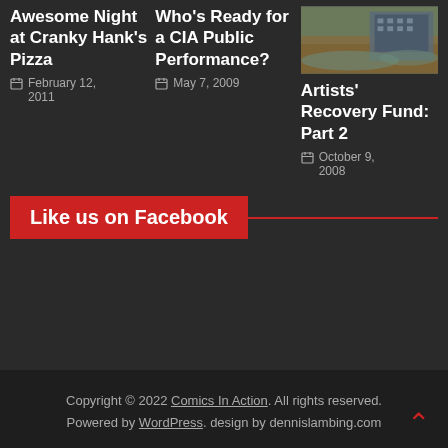Awesome Night at Cranky Hank's Pizza
February 12, 2011
Who's Ready for a CIA Public Performance?
May 7, 2009
[Figure (photo): Flooded street with brick building in background]
Artists' Recovery Fund: Part 2
October 9, 2008
Like us on Facebook
Copyright © 2022 Comics In Action. All rights reserved. Powered by WordPress. design by dennislambing.com